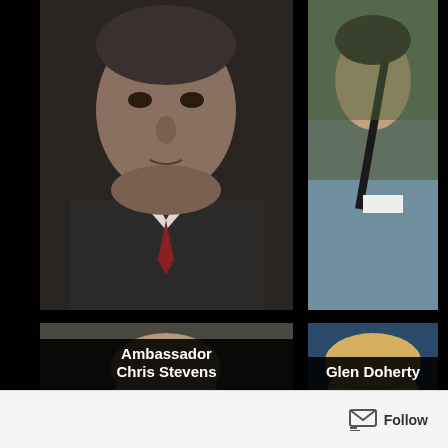[Figure (photo): Four-panel photo grid showing the four Benghazi attack victims: Ambassador Chris Stevens (top-left, formal portrait), Glen Doherty (top-right, outdoor photo), and two unidentified individuals (bottom-left and bottom-right). Each top photo has a name label in white bold text on a black background bar.]
Ambassador Chris Stevens
Glen Doherty
Follow